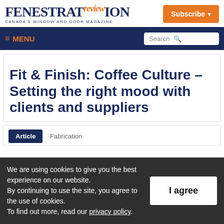FENESTRATION REVIEW — CANADA'S WINDOW AND DOOR MAGAZINE | Subscribe
≡ MENU | Search
Fit & Finish: Coffee Culture – Setting the right mood with clients and suppliers
Article | Fabrication
We are using cookies to give you the best experience on our website. By continuing to use the site, you agree to the use of cookies. To find out more, read our privacy policy.